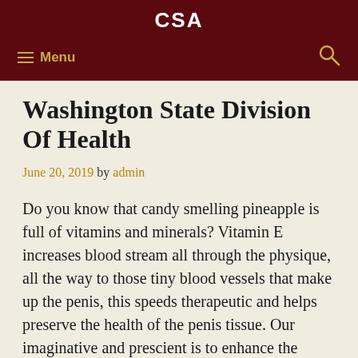CSA
≡ Menu  🔍
Washington State Division Of Health
June 20, 2019 by admin
Do you know that candy smelling pineapple is full of vitamins and minerals? Vitamin E increases blood stream all through the physique, all the way to those tiny blood vessels that make up the penis, this speeds therapeutic and helps preserve the health of the penis tissue. Our imaginative and prescient is to enhance the health and